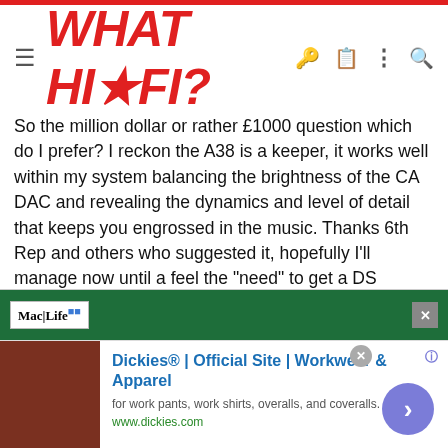WHAT HI-FI?
So the million dollar or rather £1000 question which do I prefer? I reckon the A38 is a keeper, it works well within my system balancing the brightness of the CA DAC and revealing the dynamics and level of detail that keeps you engrossed in the music. Thanks 6th Rep and others who suggested it, hopefully I'll manage now until a feel the "need" to get a DS (sneaky or similar) and a better DAC!
Right, gotta go and unpack some more of them damn boxes!
Here's now it looks now: (if I could get the pic to show that is.....)
http://www.flickr.com/photos/45601861@N02/6931163285/
[Figure (screenshot): MacLife advertisement banner at top of ad section, green background]
[Figure (screenshot): Dickies workwear advertisement with product image on left and text on right: Dickies® | Official Site | Workwear & Apparel, for work pants, work shirts, overalls, and coveralls. www.dickies.com, with purple circular arrow button]